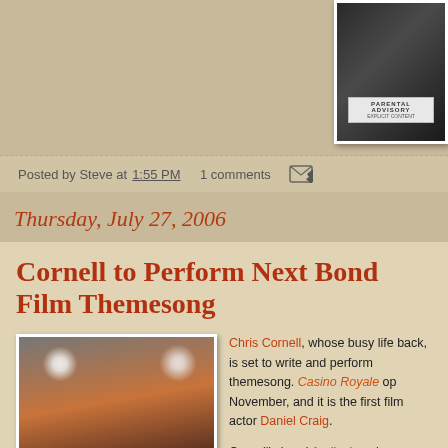[Figure (photo): Album cover thumbnail in top right corner, dark background with advisory label]
Posted by Steve at 1:55 PM   1 comments
Thursday, July 27, 2006
Cornell to Perform Next Bond Film Themesong
[Figure (photo): Chris Cornell performing on stage, wearing white t-shirt, leaning over equipment, with stage lights in background]
Chris Cornell, whose busy life back, is set to write and perform themesong. Casino Royale opens in November, and it is the first film actor Daniel Craig. Cornell's band Audioslave is set to release their album September 5th. It is ent...